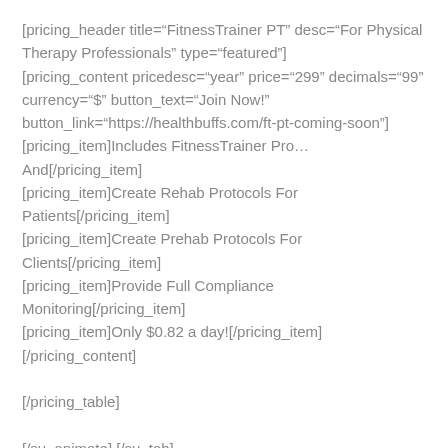[pricing_header title="FitnessTrainer PT" desc="For Physical Therapy Professionals" type="featured"]
[pricing_content pricedesc="year" price="299" decimals="99" currency="$" button_text="Join Now!" button_link="https://healthbuffs.com/ft-pt-coming-soon"]
[pricing_item]Includes FitnessTrainer Pro… And[/pricing_item]
[pricing_item]Create Rehab Protocols For Patients[/pricing_item]
[pricing_item]Create Prehab Protocols For Clients[/pricing_item]
[pricing_item]Provide Full Compliance Monitoring[/pricing_item]
[pricing_item]Only $0.82 a day![/pricing_item]
[/pricing_content]

[/pricing_table]

[/su_animate] [/su_tab]
[/su_tabs]

[su_divider top="no" divider_color="transparent" size="10" margin="30"][su_divider divider_color="#EEEEF0" size="2"]
[/su_divider]